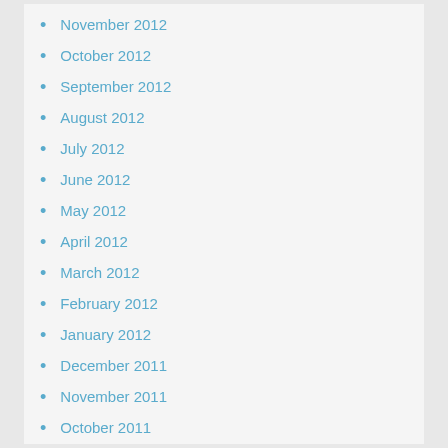November 2012
October 2012
September 2012
August 2012
July 2012
June 2012
May 2012
April 2012
March 2012
February 2012
January 2012
December 2011
November 2011
October 2011
September 2011
August 2011
July 2011
June 2011